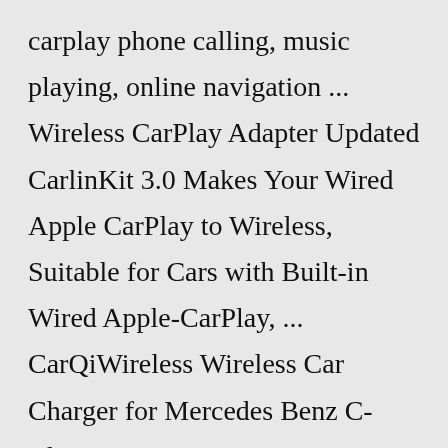carplay phone calling, music playing, online navigation ... Wireless CarPlay Adapter Updated CarlinKit 3.0 Makes Your Wired Apple CarPlay to Wireless, Suitable for Cars with Built-in Wired Apple-CarPlay, ... CarQiWireless Wireless Car Charger for Mercedes Benz C-Class GLC Accessories 2021-2015 for Mercedes-Benz C300/C43 AMG/C63 AMG/C63 AMG S/GLC300/GLC350e/GLC43 AMG/GLC63